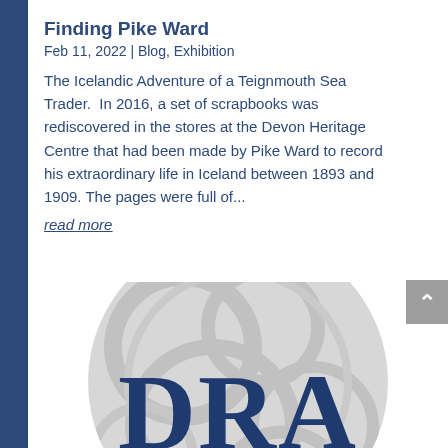Finding Pike Ward
Feb 11, 2022 | Blog, Exhibition
The Icelandic Adventure of a Teignmouth Sea Trader.  In 2016, a set of scrapbooks was rediscovered in the stores at the Devon Heritage Centre that had been made by Pike Ward to record his extraordinary life in Iceland between 1893 and 1909. The pages were full of...
read more
[Figure (logo): Circular logo with grey decorative background and large dark blue letters DRA]